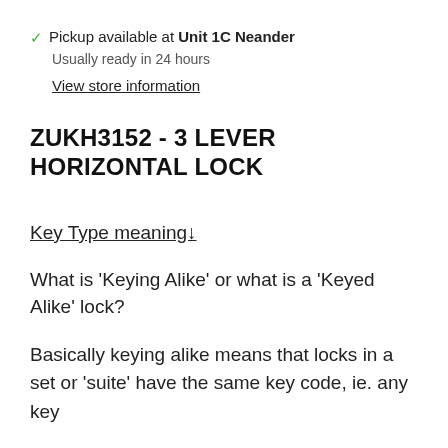✓ Pickup available at Unit 1C Neander
Usually ready in 24 hours
View store information
ZUKH3152 - 3 LEVER HORIZONTAL LOCK
Key Type meaning↓
What is 'Keying Alike' or what is a 'Keyed Alike' lock?
Basically keying alike means that locks in a set or 'suite' have the same key code, ie. any key